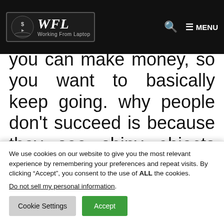Working From Laptop — WFL navigation bar with logo, search, and menu
you can make money, so you want to basically keep going. why people don't succeed is because they see shiny objects and they jump from one thing to another, and it's not focusing on one path. You need to
We use cookies on our website to give you the most relevant experience by remembering your preferences and repeat visits. By clicking “Accept”, you consent to the use of ALL the cookies.
Do not sell my personal information.